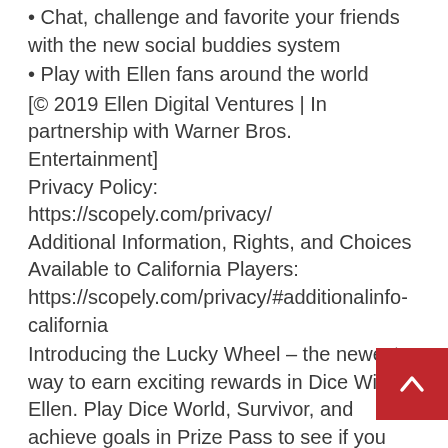• Chat, challenge and favorite your friends with the new social buddies system
• Play with Ellen fans around the world
[© 2019 Ellen Digital Ventures | In partnership with Warner Bros. Entertainment]
Privacy Policy:
https://scopely.com/privacy/
Additional Information, Rights, and Choices Available to California Players:
https://scopely.com/privacy/#additionalinfo-california
Introducing the Lucky Wheel – the newest way to earn exciting rewards in Dice With Ellen. Play Dice World, Survivor, and achieve goals in Prize Pass to see if you can find wheel tokens. All you have to do is spin to win bonus rolls, stickers, scratchers and more!